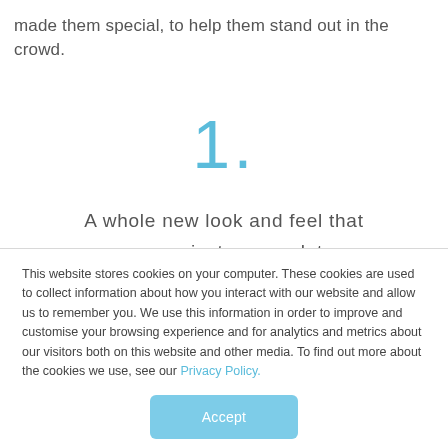made them special, to help them stand out in the crowd.
1.
A whole new look and feel that communicates complete assurance
This website stores cookies on your computer. These cookies are used to collect information about how you interact with our website and allow us to remember you. We use this information in order to improve and customise your browsing experience and for analytics and metrics about our visitors both on this website and other media. To find out more about the cookies we use, see our Privacy Policy.
Accept